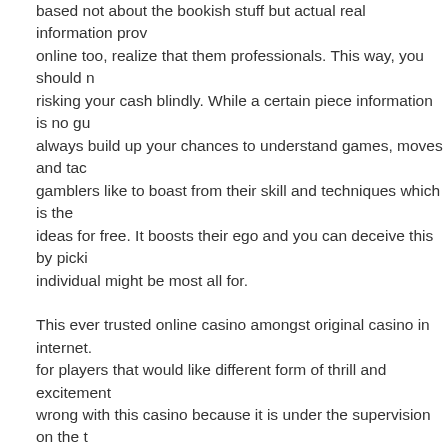based not about the bookish stuff but actual real information prov online too, realize that them professionals. This way, you should n risking your cash blindly. While a certain piece information is no gu always build up your chances to understand games, moves and tac gamblers like to boast from their skill and techniques which is the ideas for free. It boosts their ego and you can deceive this by picki individual might be most all for.
This ever trusted online casino amongst original casino in internet. for players that would like different form of thrill and excitement wrong with this casino because it is under the supervision on the t that is well known of holding and operating top internet casinos. A Casino is the ever reliable Vegas Technology. Providing players 'clo undertaking.
Just you already know small profits, even low improvements of 20 $50.00 into $25 000 over 1 yr. It's top tips on the method, not the concerning and stick low.
We start talking relating to rising in the kind of websites, it is not o television however, you can surf on the world wide web and look f